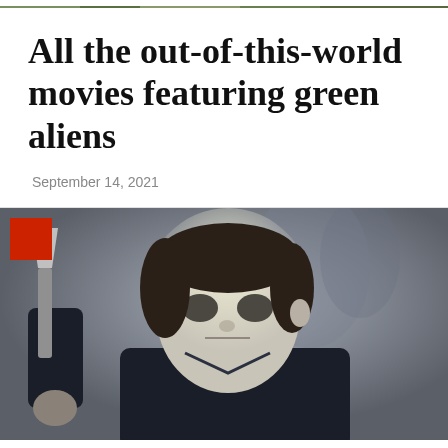[Figure (photo): Narrow strip at top of page showing a blurred outdoor/nature image in green and brown tones]
All the out-of-this-world movies featuring green aliens
September 14, 2021
[Figure (photo): A masked figure (Michael Myers style) in a white pale mask holding a large knife, with a red square accent overlay in the upper left corner. Dark moody horror movie still image with grey background.]